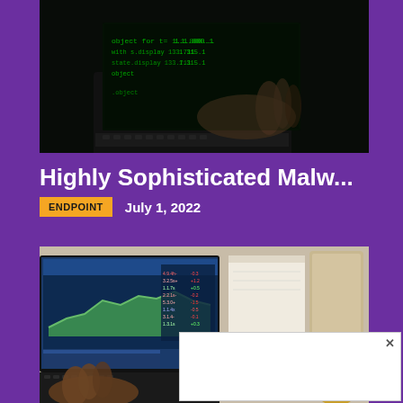[Figure (photo): Dark hacker photo: hands typing on laptop with green code on screen]
Highly Sophisticated Malw...
ENDPOINT   July 1, 2022
[Figure (photo): Person typing on laptop with financial trading charts on screen, with a popup overlay box with X close button]